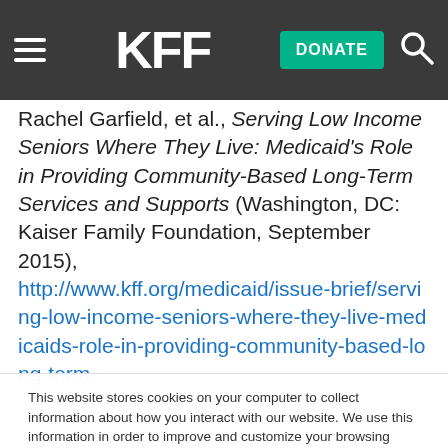KFF [navigation bar with DONATE button and search icon]
Rachel Garfield, et al., Serving Low Income Seniors Where They Live: Medicaid’s Role in Providing Community-Based Long-Term Services and Supports (Washington, DC: Kaiser Family Foundation, September 2015), http://www.kff.org/medicaid/issue-brief/serving-low-income-seniors-where-they-live-medicaids-role-in-providing-community-based-long-term-
This website stores cookies on your computer to collect information about how you interact with our website. We use this information in order to improve and customize your browsing experience and for analytics and metrics about our visitors both on this website and other media. To find out more about the cookies we use, see our Privacy Policy.